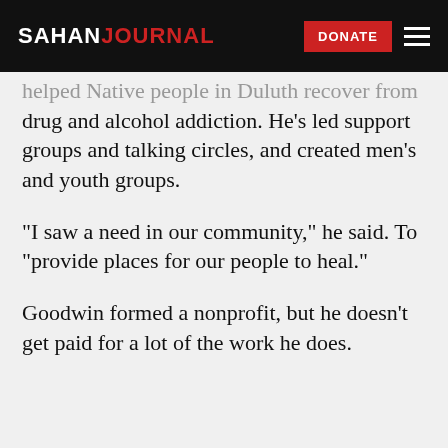SAHAN JOURNAL | DONATE
helped Native people in Duluth recover from drug and alcohol addiction. He’s led support groups and talking circles, and created men’s and youth groups.
“I saw a need in our community,” he said. To “provide places for our people to heal.”
Goodwin formed a nonprofit, but he doesn’t get paid for a lot of the work he does.